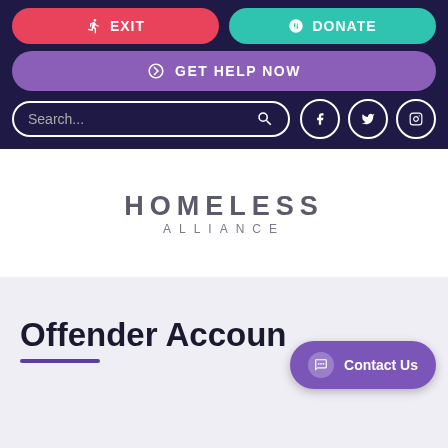EXIT | DONATE | GET HELP NOW | Search... | Social icons (Facebook, Twitter, Instagram)
[Figure (logo): Homeless Alliance logo: text HOMELESS ALLIANCE in grey letters on white background]
Offender Accoun...
[Figure (other): Contact Us chat button (purple pill-shaped button with chat icon and text 'Contact Us')]